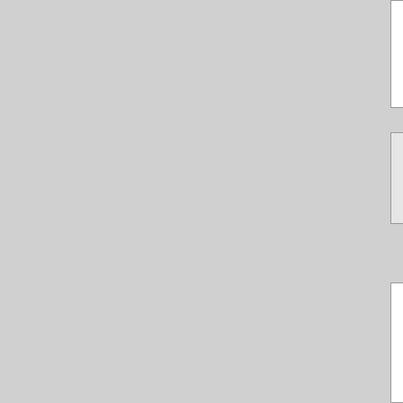address this is fatally flawed.
advancednano on May 29, 2007 - 11:22am
Permalink | Parent | Comments top
Of the total water allocated in the province, the oil and gas sector actually uses less than half of one per cent for water and steam injection processes (enhanced oil recovery). Water used for these purposes has declined from 88.7 million cubic metres in 1973 to 47.5 million cubic metres in 2001 – 37 million cubic metres of this was non-saline